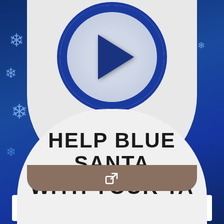[Figure (screenshot): Blue winter/snowflake background with dark blue gradient]
[Figure (illustration): Play button icon in blue circle with textured appearance]
Learn how you can assist!
[Figure (illustration): Share/external link icon in brownish-gray bar]
[Figure (illustration): White horizontal bar]
HELP BLUE SANTA WITH YOUR TA...